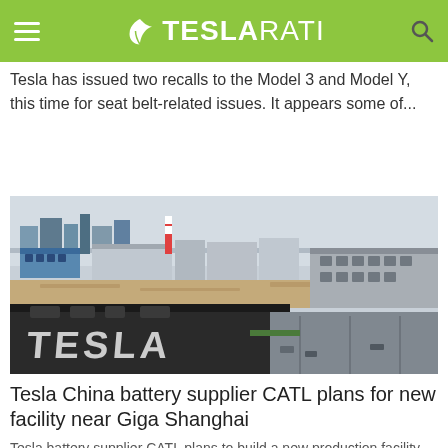TESLARATI
Tesla has issued two recalls to the Model 3 and Model Y, this time for seat belt-related issues. It appears some of...
[Figure (photo): Aerial view of Tesla Giga Shanghai facility with the TESLA logo visible on a dark-colored building rooftop, surrounded by large industrial structures and open land.]
Tesla China battery supplier CATL plans for new facility near Giga Shanghai
Tesla battery supplier CATL plans to build a new production facility near Tesla's Giga Shanghai electric vehicle production plant in China. The...